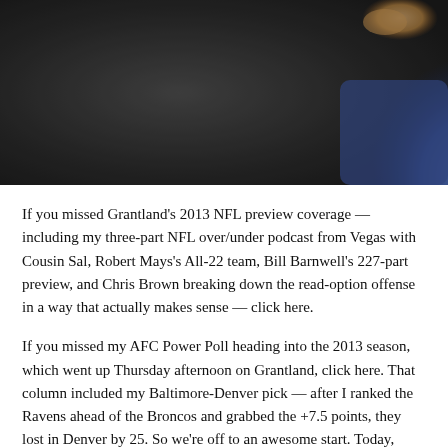[Figure (photo): Partial photo of a person, mostly dark background with blue clothing visible at right edge and a hand/object at top right corner]
If you missed Grantland's 2013 NFL preview coverage — including my three-part NFL over/under podcast from Vegas with Cousin Sal, Robert Mays's All-22 team, Bill Barnwell's 227-part preview, and Chris Brown breaking down the read-option offense in a way that actually makes sense — click here.
If you missed my AFC Power Poll heading into the 2013 season, which went up Thursday afternoon on Grantland, click here. That column included my Baltimore-Denver pick — after I ranked the Ravens ahead of the Broncos and grabbed the +7.5 points, they lost in Denver by 25. So we're off to an awesome start. Today, we're